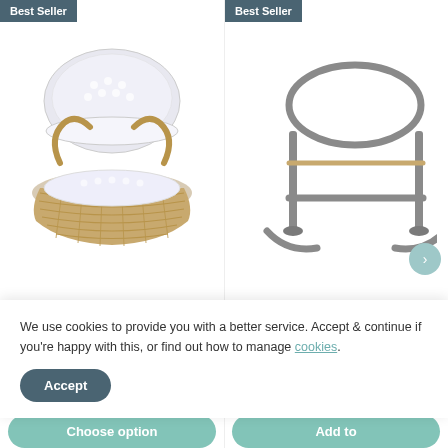[Figure (photo): Clair de Lune Dimple Palm Moses Basket with white dimple fabric lining and natural palm/seagrass base, with 'Best Seller' badge]
Clair de Lune
Dimple Palm Moses Basket
[Figure (photo): Clair de Lune Deluxe Grey Moses Basket stand/rocker in grey wood, with 'Best Seller' badge]
Clair de Lune
Deluxe Grey Moses
We use cookies to provide you with a better service. Accept & continue if you're happy with this, or find out how to manage cookies.
Accept